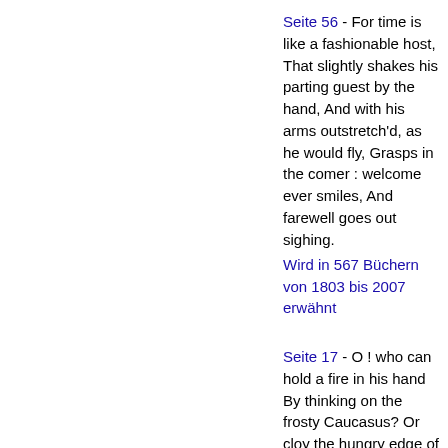Seite 56 - For time is like a fashionable host, That slightly shakes his parting guest by the hand, And with his arms outstretch'd, as he would fly, Grasps in the comer : welcome ever smiles, And farewell goes out sighing.
Wird in 567 Büchern von 1803 bis 2007 erwähnt
Seite 17 - O ! who can hold a fire in his hand By thinking on the frosty Caucasus? Or cloy the hungry edge of appetite By bare imagination of a feast?
Wird in 674 Büchern von 1598 bis 2007 erwähnt